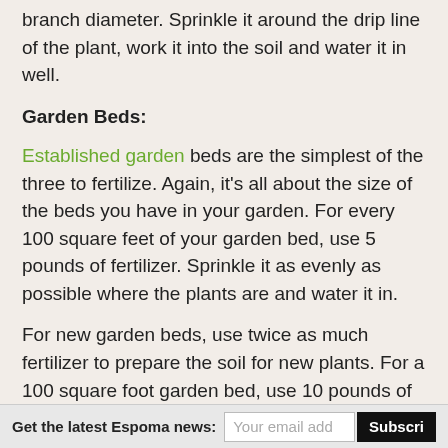branch diameter. Sprinkle it around the drip line of the plant, work it into the soil and water it in well.
Garden Beds:
Established garden beds are the simplest of the three to fertilize. Again, it's all about the size of the beds you have in your garden. For every 100 square feet of your garden bed, use 5 pounds of fertilizer. Sprinkle it as evenly as possible where the plants are and water it in.
For new garden beds, use twice as much fertilizer to prepare the soil for new plants. For a 100 square foot garden bed, use 10 pounds of fertilizer. Sprinkle it on top of the soil and work it in the top 4 inches, to get it
Get the latest Espoma news:  Your email add  Subscri